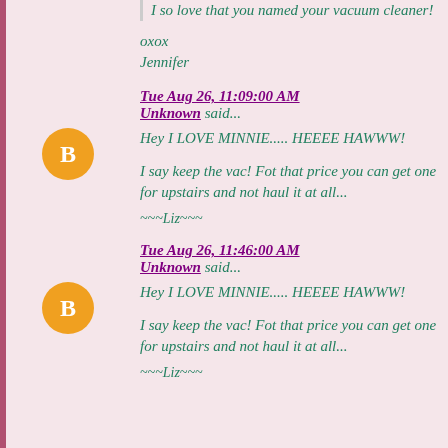I so love that you named your vacuum cleaner!
oxox
Jennifer
Tue Aug 26, 11:09:00 AM
Unknown said...
Hey I LOVE MINNIE..... HEEEE HAWWW!
I say keep the vac! Fot that price you can get one for upstairs and not haul it at all...
~~~Liz~~~
Tue Aug 26, 11:46:00 AM
Unknown said...
Hey I LOVE MINNIE..... HEEEE HAWWW!
I say keep the vac! Fot that price you can get one for upstairs and not haul it at all...
~~~Liz~~~